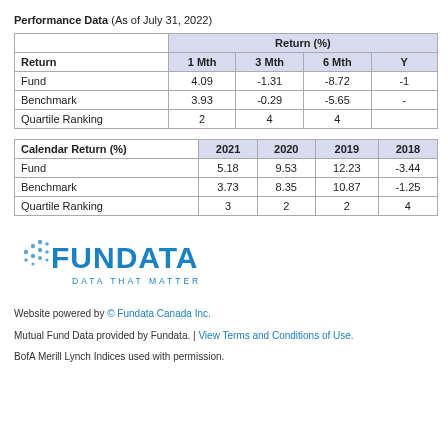Performance Data (As of July 31, 2022)
| Return | 1 Mth | 3 Mth | 6 Mth | Y... |
| --- | --- | --- | --- | --- |
| Fund | 4.09 | -1.31 | -8.72 | -1... |
| Benchmark | 3.93 | -0.29 | -5.65 | -... |
| Quartile Ranking | 2 | 4 | 4 |  |
| Calendar Return (%) | 2021 | 2020 | 2019 | 2018 |
| --- | --- | --- | --- | --- |
| Fund | 5.18 | 9.53 | 12.23 | -3.44 |
| Benchmark | 3.73 | 8.35 | 10.87 | -1.25 |
| Quartile Ranking | 3 | 2 | 2 | 4 |
[Figure (logo): Fundata Canada Inc. logo with tagline DATA THAT MATTER]
Website powered by © Fundata Canada Inc.
Mutual Fund Data provided by Fundata. | View Terms and Conditions of Use.
BofA Merill Lynch Indices used with permission.